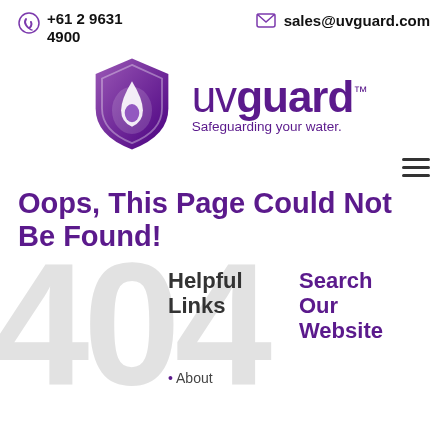+61 2 9631 4900   sales@uvguard.com
[Figure (logo): UVGuard logo: purple shield with water drop icon and text 'uvguard™ Safeguarding your water.']
Oops, This Page Could Not Be Found!
[Figure (other): Large light grey '404' watermark text in background]
Helpful Links
Search Our Website
About